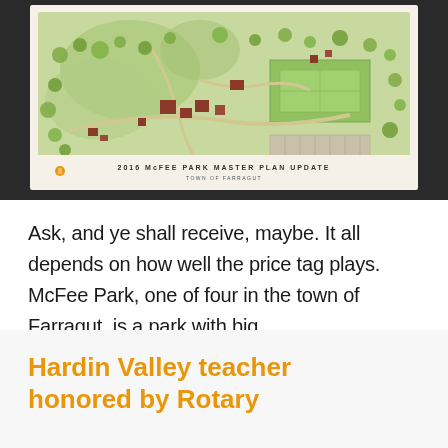[Figure (map): Photo of a printed map titled '2016 McFEE PARK MASTER PLAN UPDATE, TOWN OF FARRAGUT'. The map shows a park layout with green areas, trees, paths, buildings (brown/red structures), sports fields (green rectangles), and parking areas. The map is displayed on a table and photographed from above.]
Ask, and ye shall receive, maybe. It all depends on how well the price tag plays. McFee Park, one of four in the town of Farragut, is a park with big …
Hardin Valley teacher honored by Rotary